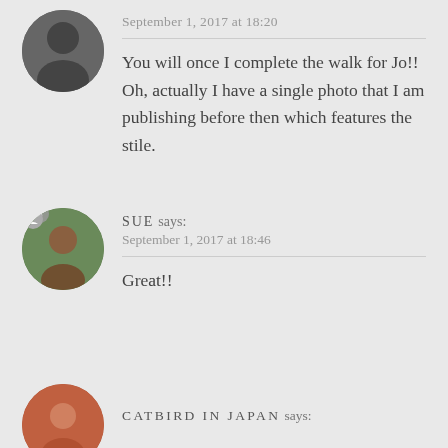September 1, 2017 at 18:20
You will once I complete the walk for Jo!! Oh, actually I have a single photo that I am publishing before then which features the stile.
SUE says:
September 1, 2017 at 18:46
Great!!
CATBIRD IN JAPAN says: